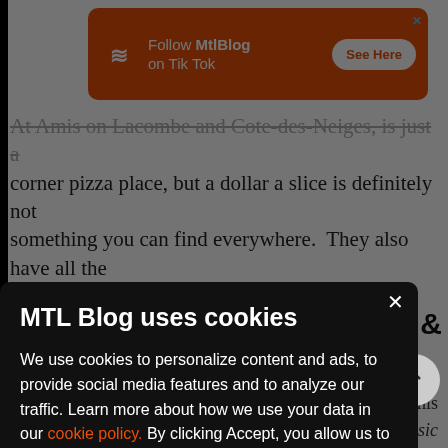[Figure (screenshot): Orange advertisement banner for MtlBlog TikTok with logo, text 'Follow MtlBlog on Tik Tok' and 'See Here' button]
At Amis on Lacombe and Cote-des-Neiges, is just a corner pizza place, but a dollar a slice is definitely not something you can find everywhere. They also have all the other classic food you'd find in one of these restaurants for
ars &
his
asic
e of
there
MTL Blog uses cookies
We use cookies to personalize content and ads, to provide social media features and to analyze our traffic. Learn more about how we use your data in our cookie policy. By clicking Accept, you allow us to use cookies to give you the best experience on site.
Accept